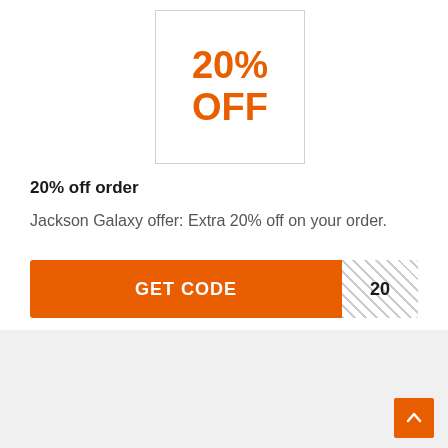[Figure (other): Coupon box showing '20% OFF' in large orange bold text, inside a bordered white box]
20% off order
Jackson Galaxy offer: Extra 20% off on your order.
GET CODE  20